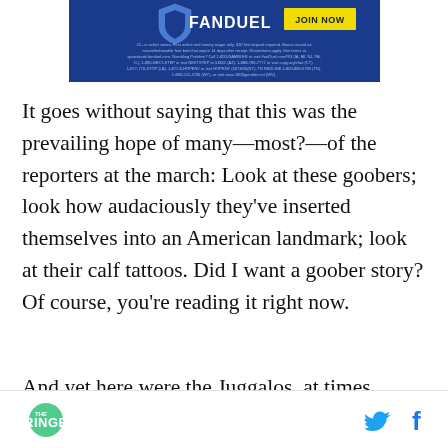[Figure (other): FanDuel advertisement banner with blue background, FanDuel logo, JOIN NOW yellow button, and gambling disclaimer text]
It goes without saying that this was the prevailing hope of many—most?—of the reporters at the march: Look at these goobers; look how audaciously they've inserted themselves into an American landmark; look at their calf tattoos. Did I want a goober story? Of course, you're reading it right now.
And yet here were the Juggalos, at times
THE RINGER [logo] [Twitter icon] [Facebook icon]